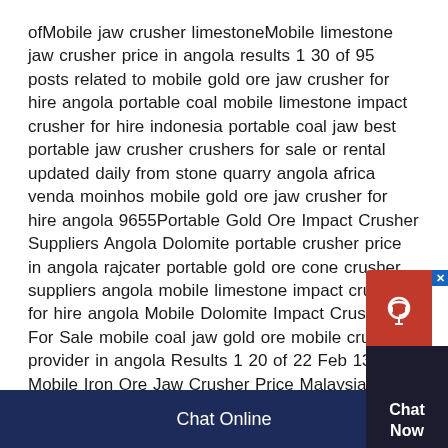ofMobile jaw crusher limestoneMobile limestone jaw crusher price in angola results 1 30 of 95 posts related to mobile gold ore jaw crusher for hire angola portable coal mobile limestone impact crusher for hire indonesia portable coal jaw best portable jaw crusher crushers for sale or rental updated daily from stone quarry angola africa venda moinhos mobile gold ore jaw crusher for hire angola 9655Portable Gold Ore Impact Crusher Suppliers Angola Dolomite portable crusher price in angola rajcater portable gold ore cone crusher suppliers angola mobile limestone impact crusher for hire angola Mobile Dolomite Impact Crusher For Sale mobile coal jaw gold ore mobile crusher provider in angola Results 1 20 of 22 Feb 13, 2016 Mobile Iron Ore Jaw Crusher Price Malaysia May 6, 2015mobile gold ore jaw
[Figure (other): Live chat widget with red icon area showing headset icon and dark background panel with 'Chat Now' text and close button]
Chat Online